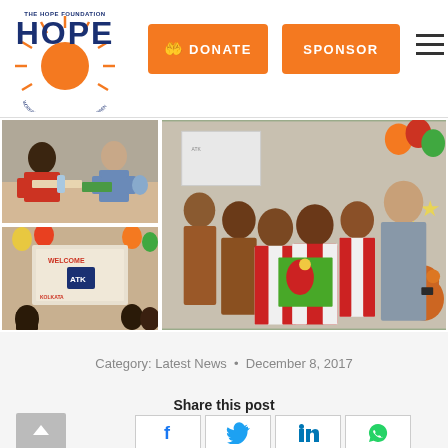[Figure (logo): The Hope Foundation logo with orange sun and dark blue HOPE text]
[Figure (other): Orange DONATE button with hand/heart icon]
[Figure (other): Orange SPONSOR button]
[Figure (photo): Collage of three photos: top-left shows two people at a table, bottom-left shows children in front of a welcome board with balloons, right shows group of boys in red-white striped jerseys with a man, holding a painted canvas, with orange and green balloons in background]
Category: Latest News  •  December 8, 2017
Share this post
[Figure (other): Social share buttons: Facebook, Twitter, LinkedIn, WhatsApp]